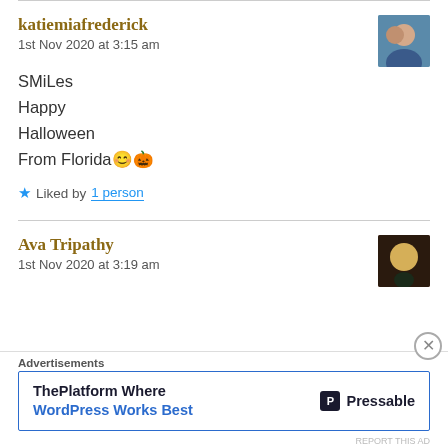katiemiafrederick
1st Nov 2020 at 3:15 am
SMiLes
Happy
Halloween
From Florida😊🎃
★ Liked by 1 person
Ava Tripathy
1st Nov 2020 at 3:19 am
Advertisements
ThePlatform Where WordPress Works Best   P Pressable